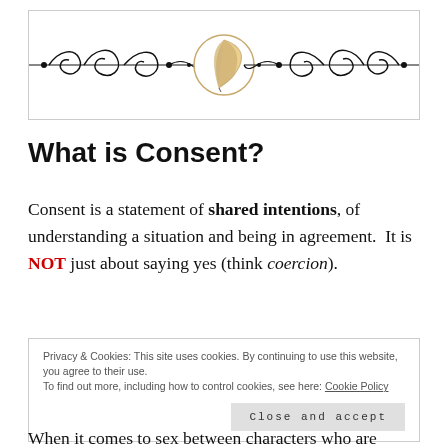[Figure (illustration): Decorative header banner with ornate black scrollwork/flourishes on both sides and a circular logo with a feather/quill pen in the center]
What is Consent?
Consent is a statement of shared intentions, of understanding a situation and being in agreement.  It is NOT just about saying yes (think coercion).
Privacy & Cookies: This site uses cookies. By continuing to use this website, you agree to their use.
To find out more, including how to control cookies, see here: Cookie Policy
[Close and accept]
When it comes to sex between characters who are